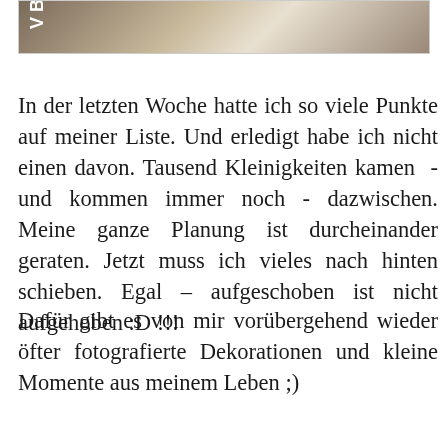[Figure (photo): Partial photograph visible at top of page, showing what appears to be a person or figure in sepia/muted tones with a wooden background]
In der letzten Woche hatte ich so viele Punkte auf meiner Liste. Und erledigt habe ich nicht einen davon. Tausend Kleinigkeiten kamen - und kommen immer noch - dazwischen. Meine ganze Planung ist durcheinander geraten. Jetzt muss ich vieles nach hinten schieben. Egal – aufgeschoben ist nicht aufgehoben :D !!!
Dafür gibt es von mir vorübergehend wieder öfter fotografierte Dekorationen und kleine Momente aus meinem Leben ;)